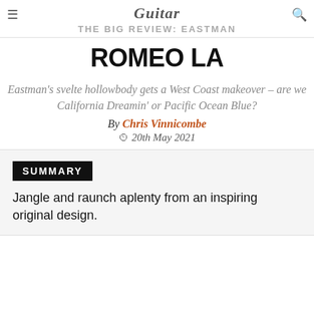Guitar — THE BIG REVIEW: EASTMAN
THE BIG REVIEW: EASTMAN ROMEO LA
Eastman's svelte hollowbody gets a West Coast makeover – are we California Dreamin' or Pacific Ocean Blue?
By Chris Vinnicombe
20th May 2021
SUMMARY
Jangle and raunch aplenty from an inspiring original design.